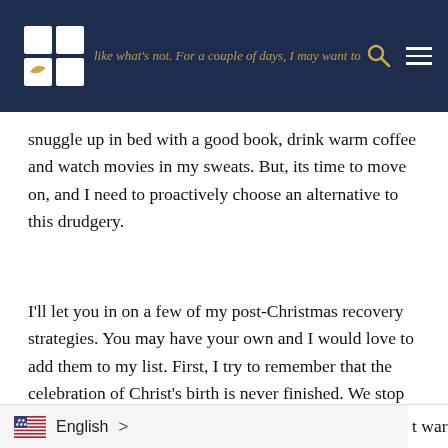like what's not. For a couple of days, I may want to snuggle up in bed with a good book, drink warm coffee and watch movies in my sweats.
snuggle up in bed with a good book, drink warm coffee and watch movies in my sweats. But, its time to move on, and I need to proactively choose an alternative to this drudgery.
I'll let you in on a few of my post-Christmas recovery strategies. You may have your own and I would love to add them to my list. First, I try to remember that the celebration of Christ's birth is never finished. We stop celebrating Christmas, but we don't stop celebrating Christ! So let's grab a warm cup of coffee and check
English >